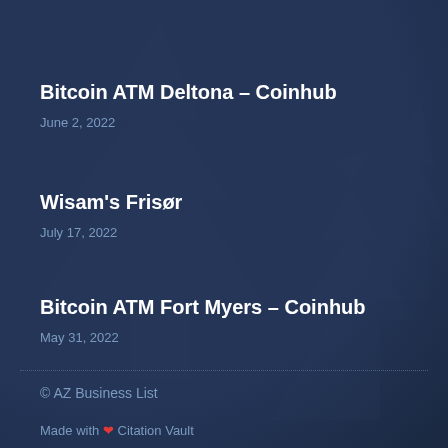Bitcoin ATM Deltona – Coinhub
June 2, 2022
Wisam's Frisør
July 17, 2022
Bitcoin ATM Fort Myers – Coinhub
May 31, 2022
© AZ Business List
Made with ❤ Citation Vault